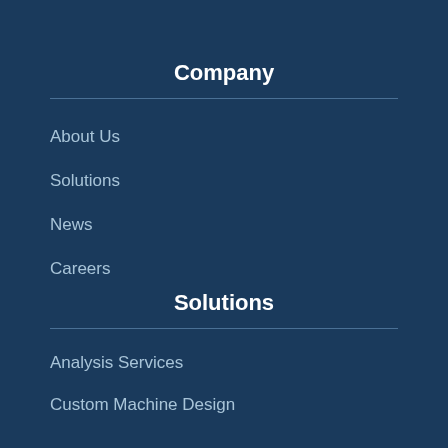Company
About Us
Solutions
News
Careers
Solutions
Analysis Services
Custom Machine Design